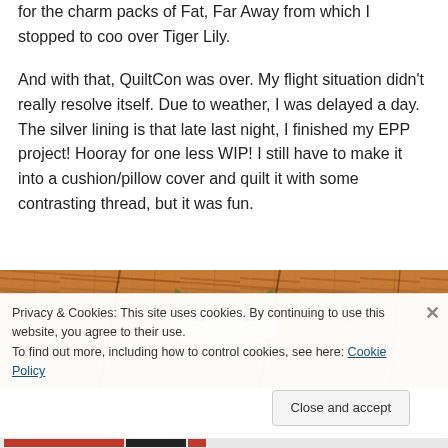for the charm packs of Fat, Far Away from which I stopped to coo over Tiger Lily.
And with that, QuiltCon was over. My flight situation didn't really resolve itself. Due to weather, I was delayed a day. The silver lining is that late last night, I finished my EPP project! Hooray for one less WIP! I still have to make it into a cushion/pillow cover and quilt it with some contrasting thread, but it was fun.
[Figure (photo): Photo of a quilt EPP project with green fabric shapes on a wooden surface]
Privacy & Cookies: This site uses cookies. By continuing to use this website, you agree to their use.
To find out more, including how to control cookies, see here: Cookie Policy
Close and accept